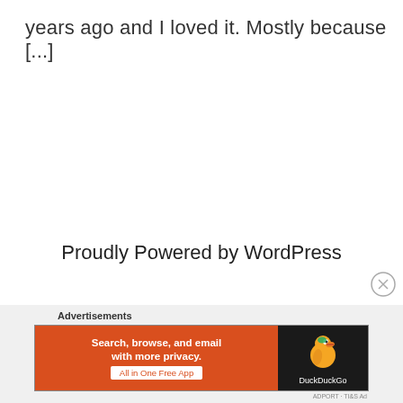years ago and I loved it. Mostly because [...]
Proudly Powered by WordPress
Advertisements
[Figure (other): DuckDuckGo advertisement banner: 'Search, browse, and email with more privacy. All in One Free App' with DuckDuckGo logo on dark background]